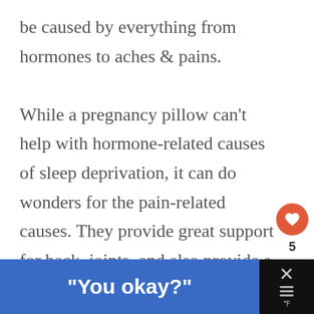be caused by everything from hormones to aches & pains.

While a pregnancy pillow can't help with hormone-related causes of sleep deprivation, it can do wonders for the pain-related causes. They provide great support for back, joints, and also provide a higher level of comfort. They wrap around your
[Figure (other): Heart/like button (orange circle with white heart icon) with count 5, and share button below]
[Figure (other): Bottom ad banner with blue background showing text: "You okay?" and black close/menu area on the right]